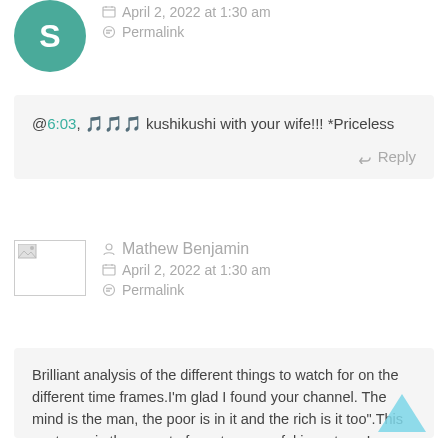April 2, 2022 at 1:30 am
Permalink
@6:03, 🎵🎵🎵 kushikushi with your wife!!! *Priceless
Reply
Mathew Benjamin
April 2, 2022 at 1:30 am
Permalink
Brilliant analysis of the different things to watch for on the different time frames.I'm glad I found your channel. The mind is the man, the poor is in it and the rich is it too".This sentence is the secret of most successful investors. I once attended similar and ever since then I have been waxing strong financially and I most tell you the truth I work with Hilary Blust and got over 11btc.